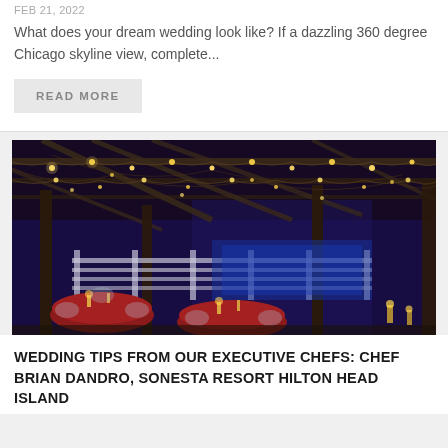FEB 21, 2022
What does your dream wedding look like? If a dazzling 360 degree Chicago skyline view, complete...
READ MORE
[Figure (photo): Indoor/outdoor rustic wedding venue at night with string lights hanging from wooden beams, round tables with red linens, blue ambient lighting in background]
WEDDING TIPS FROM OUR EXECUTIVE CHEFS: CHEF BRIAN DANDRO, SONESTA RESORT HILTON HEAD ISLAND